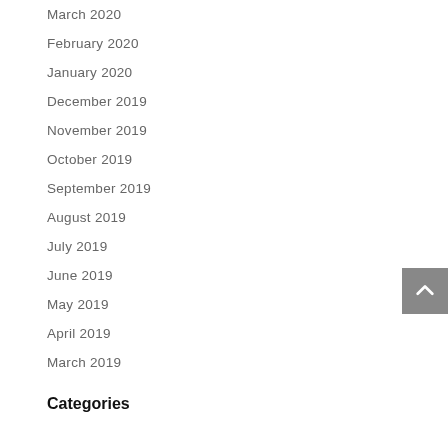March 2020
February 2020
January 2020
December 2019
November 2019
October 2019
September 2019
August 2019
July 2019
June 2019
May 2019
April 2019
March 2019
Categories